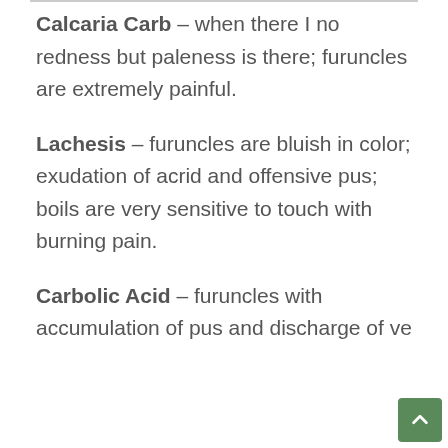Calcaria Carb – when there I no redness but paleness is there; furuncles are extremely painful.
Lachesis – furuncles are bluish in color; exudation of acrid and offensive pus; boils are very sensitive to touch with burning pain.
Carbolic Acid – furuncles with accumulation of pus and discharge of ve...